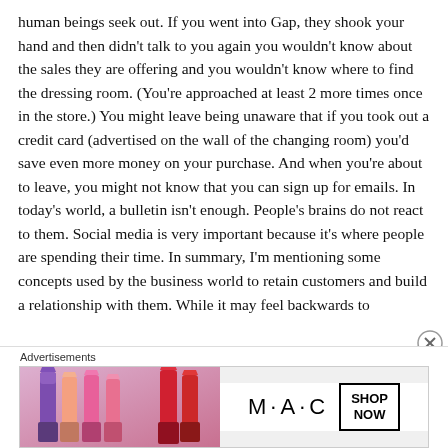human beings seek out. If you went into Gap, they shook your hand and then didn't talk to you again you wouldn't know about the sales they are offering and you wouldn't know where to find the dressing room. (You're approached at least 2 more times once in the store.) You might leave being unaware that if you took out a credit card (advertised on the wall of the changing room) you'd save even more money on your purchase. And when you're about to leave, you might not know that you can sign up for emails. In today's world, a bulletin isn't enough. People's brains do not react to them. Social media is very important because it's where people are spending their time. In summary, I'm mentioning some concepts used by the business world to retain customers and build a relationship with them. While it may feel backwards to
Advertisements
[Figure (photo): MAC cosmetics advertisement banner showing colorful lipsticks on the left and MAC logo with SHOP NOW button on the right]